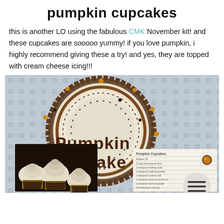pumpkin cupcakes
this is another LO using the fabulous CMK November kit! and these cupcakes are sooooo yummy! if you love pumpkin, i highly recommend giving these a try! and yes, they are topped with cream cheese icing!!!
[Figure (photo): Scrapbook layout page featuring 'Pumpkin Cupcakes' text in brown letters on a decorative patterned background with concentric circles, rhinestones/gems, and a photo of cream-cheese-frosted pumpkin cupcakes in the lower left. A recipe card is visible in the lower right area.]